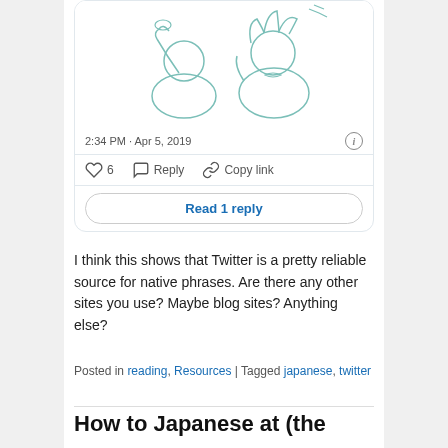[Figure (illustration): Line drawing illustration showing two cartoon characters, one holding something up to the other's face, rendered in light teal/mint outlines on white background.]
2:34 PM · Apr 5, 2019
6  Reply  Copy link
Read 1 reply
I think this shows that Twitter is a pretty reliable source for native phrases. Are there any other sites you use? Maybe blog sites? Anything else?
Posted in reading, Resources | Tagged japanese, twitter
How to Japanese at (the